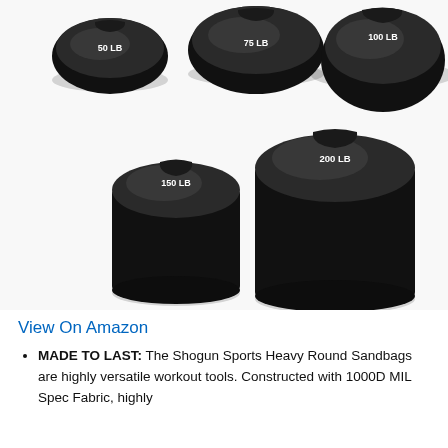[Figure (photo): Five black heavy round sandbags of different sizes labeled 50 LB, 75 LB, 100 LB, 150 LB, and 200 LB arranged on a white background. The top row shows three flat disc-shaped bags (50, 75, 100 LB) and the bottom row shows two taller cylindrical bags (150, 200 LB).]
View On Amazon
MADE TO LAST: The Shogun Sports Heavy Round Sandbags are highly versatile workout tools. Constructed with 1000D MIL Spec Fabric, highly